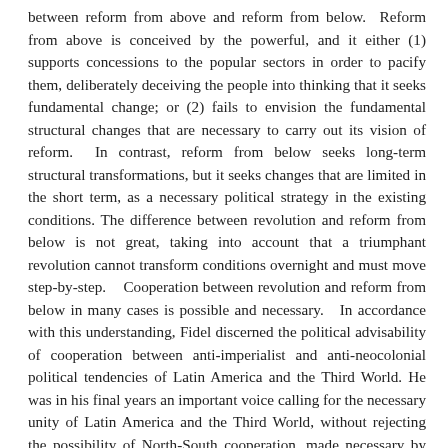between reform from above and reform from below. Reform from above is conceived by the powerful, and it either (1) supports concessions to the popular sectors in order to pacify them, deliberately deceiving the people into thinking that it seeks fundamental change; or (2) fails to envision the fundamental structural changes that are necessary to carry out its vision of reform. In contrast, reform from below seeks long-term structural transformations, but it seeks changes that are limited in the short term, as a necessary political strategy in the existing conditions. The difference between revolution and reform from below is not great, taking into account that a triumphant revolution cannot transform conditions overnight and must move step-by-step. Cooperation between revolution and reform from below in many cases is possible and necessary. In accordance with this understanding, Fidel discerned the political advisability of cooperation between anti-imperialist and anti-neocolonial political tendencies of Latin America and the Third World. He was in his final years an important voice calling for the necessary unity of Latin America and the Third World, without rejecting the possibility of North-South cooperation, made necessary by global economic, political, and ecological conditions.